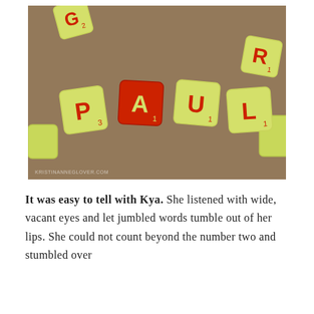[Figure (photo): A photograph of Scrabble tiles arranged to spell 'PAUL' on a brown surface. The tiles are yellow-green with red letters. The 'A' tile is highlighted in red. Additional tiles visible include G2 (top left), R1 (top right), and a partial tile (bottom right). A watermark reads 'KRISTINANNEGLOVER.COM' at the bottom left.]
It was easy to tell with Kya. She listened with wide, vacant eyes and let jumbled words tumble out of her lips. She could not count beyond the number two and stumbled over